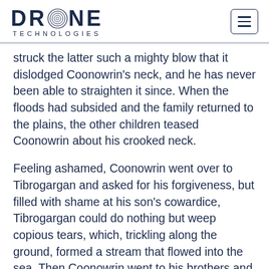[Figure (logo): Drone Technologies logo with spiral 'O' and hamburger menu icon]
struck the latter such a mighty blow that it dislodged Coonowrin's neck, and he has never been able to straighten it since. When the floods had subsided and the family returned to the plains, the other children teased Coonowrin about his crooked neck.
Feeling ashamed, Coonowrin went over to Tibrogargan and asked for his forgiveness, but filled with shame at his son's cowardice, Tibrogargan could do nothing but weep copious tears, which, trickling along the ground, formed a stream that flowed into the sea. Then Coonowrin went to his brothers and sisters, but they